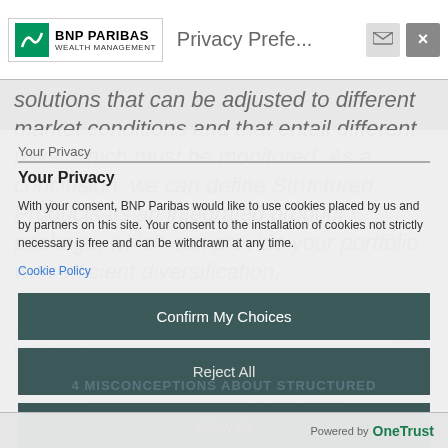BNP PARIBAS WEALTH MANAGEMENT — Privacy Prefe...
solutions that can be adjusted to different market conditions and that entail different risks, which must be monitored. As a conclusion, we can define Structured Products as an integrated product package, which can provide your portfolio with efficient diversification.
Your Privacy
With your consent, BNP Paribas would like to use cookies placed by us and by partners on this site. Your consent to the installation of cookies not strictly necessary is free and can be withdrawn at any time.
Cookie Policy
Confirm My Choices
Reject All
4 MISCONCEPTIONS ABOUT STRUCTURED PRODUCTS
Allow All
STRUCTURED PRODUCTS AT BNP PARIBAS
Powered by OneTrust